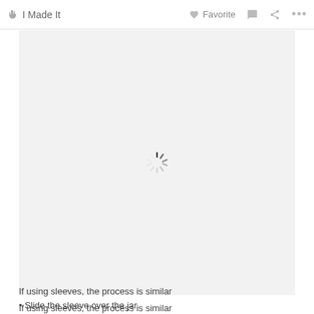🖐 I Made It   ♡ Favorite   💬   ⋖   •••
[Figure (screenshot): A light gray image placeholder area with a spinning loading indicator in the center]
If using sleeves, the process is similar
• Slide the sleeve over the jar